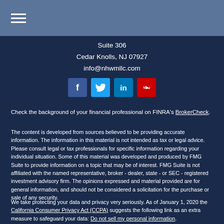Suite 306
Cedar Knolls, NJ 07927
info@nhwmllc.com
[Figure (other): Social media icons: Facebook, Twitter, LinkedIn, YouTube]
Check the background of your financial professional on FINRA's BrokerCheck.
The content is developed from sources believed to be providing accurate information. The information in this material is not intended as tax or legal advice. Please consult legal or tax professionals for specific information regarding your individual situation. Some of this material was developed and produced by FMG Suite to provide information on a topic that may be of interest. FMG Suite is not affiliated with the named representative, broker - dealer, state - or SEC - registered investment advisory firm. The opinions expressed and material provided are for general information, and should not be considered a solicitation for the purchase or sale of any security.
We take protecting your data and privacy very seriously. As of January 1, 2020 the California Consumer Privacy Act (CCPA) suggests the following link as an extra measure to safeguard your data: Do not sell my personal information.